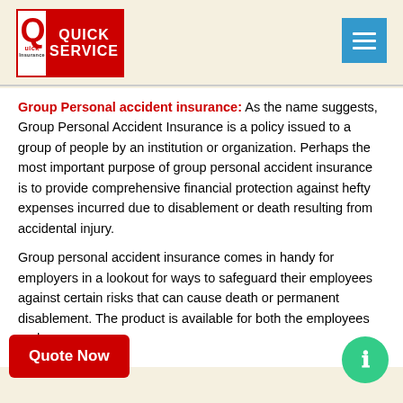[Figure (logo): Quick Service Insurance logo — red bordered box with Q on white left half and 'QUICK SERVICE' text on red right half]
[Figure (other): Blue hamburger menu button (three white horizontal lines)]
Group Personal accident insurance: As the name suggests, Group Personal Accident Insurance is a policy issued to a group of people by an institution or organization. Perhaps the most important purpose of group personal accident insurance is to provide comprehensive financial protection against hefty expenses incurred due to disablement or death resulting from accidental injury.
Group personal accident insurance comes in handy for employers in a lookout for ways to safeguard their employees against certain risks that can cause death or permanent disablement. The product is available for both the employees and
[Figure (other): Red 'Quote Now' button (bottom left)]
[Figure (other): Green circular info button with 'i' icon (bottom right)]